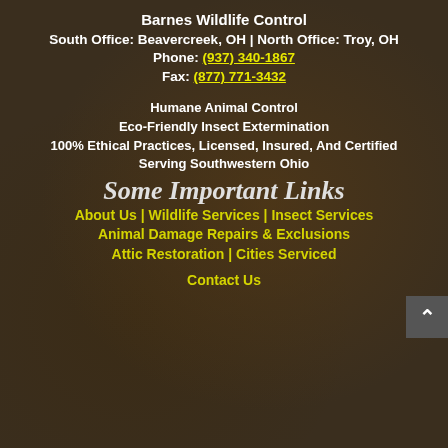Barnes Wildlife Control
South Office: Beavercreek, OH | North Office: Troy, OH
Phone: (937) 340-1867
Fax: (877) 771-3432
Humane Animal Control
Eco-Friendly Insect Extermination
100% Ethical Practices, Licensed, Insured, And Certified
Serving Southwestern Ohio
Some Important Links
About Us | Wildlife Services | Insect Services
Animal Damage Repairs & Exclusions
Attic Restoration | Cities Serviced
Contact Us